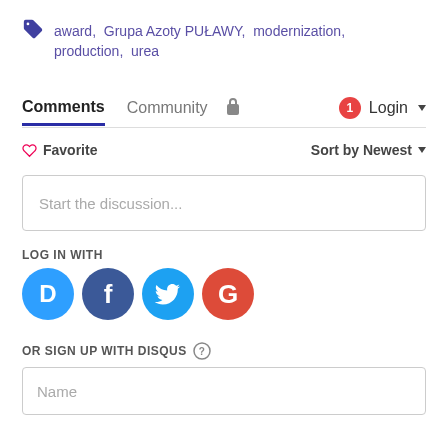award, Grupa Azoty PUŁAWY, modernization, production, urea
Comments  Community  Login
♡ Favorite   Sort by Newest
Start the discussion...
LOG IN WITH
[Figure (logo): Social login icons: Disqus (blue circle with D), Facebook (blue circle with f), Twitter (blue circle with bird), Google (red circle with G)]
OR SIGN UP WITH DISQUS ?
Name